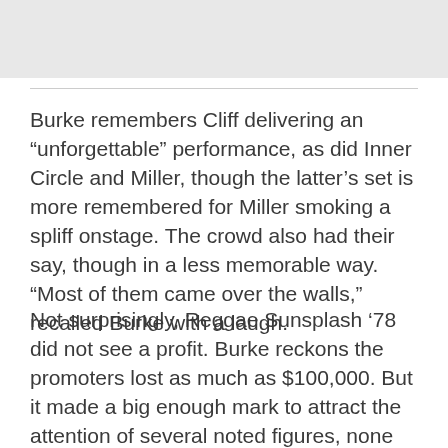[Figure (photo): Gray image block at the top of the page]
Burke remembers Cliff delivering an “unforgettable” performance, as did Inner Circle and Miller, though the latter’s set is more remembered for Miller smoking a spliff onstage. The crowd also had their say, though in a less memorable way. “Most of them came over the walls,” recalled Burke with a laugh.
Not surprisingly, Reggae Sunsplash ’78 did not see a profit. Burke reckons the promoters lost as much as $100,000. But it made a big enough mark to attract the attention of several noted figures, none moreso than the